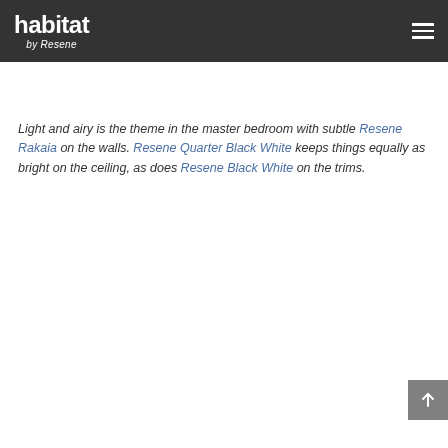habitat by Resene
Light and airy is the theme in the master bedroom with subtle Resene Rakaia on the walls. Resene Quarter Black White keeps things equally as bright on the ceiling, as does Resene Black White on the trims.